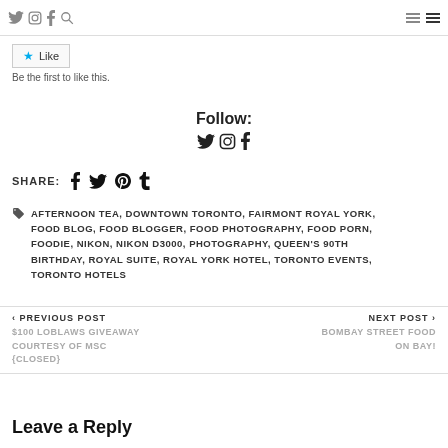Social icons nav bar with twitter, instagram, facebook, search icons and hamburger menus
[Figure (screenshot): Like button widget with star icon]
Be the first to like this.
Follow:
[Figure (screenshot): Social follow icons: twitter, instagram, facebook]
SHARE: with facebook, twitter, pinterest, tumblr icons
AFTERNOON TEA, DOWNTOWN TORONTO, FAIRMONT ROYAL YORK, FOOD BLOG, FOOD BLOGGER, FOOD PHOTOGRAPHY, FOOD PORN, FOODIE, NIKON, NIKON D3000, PHOTOGRAPHY, QUEEN'S 90TH BIRTHDAY, ROYAL SUITE, ROYAL YORK HOTEL, TORONTO EVENTS, TORONTO HOTELS
< PREVIOUS POST
$100 LOBLAWS GIVEAWAY COURTESY OF MSC {CLOSED}
NEXT POST >
BOMBAY STREET FOOD ON BAY!
Leave a Reply